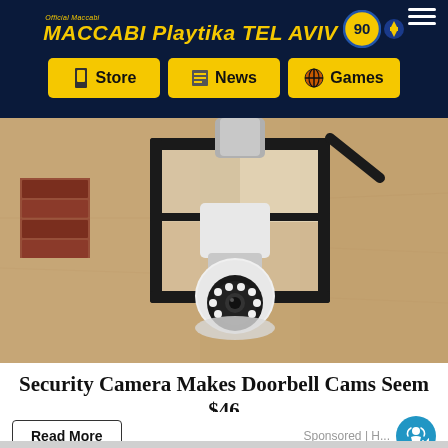Official Maccabi Playtika TEL AVIV - Store | News | Games
[Figure (photo): A security camera shaped like a light bulb installed in an outdoor wall lantern fixture. The camera is white with LED ring lights, mounted in a black metal lantern against a tan stucco wall.]
Security Camera Makes Doorbell Cams Seem $46 Ancient
Read More
Sponsored | Hometownhero